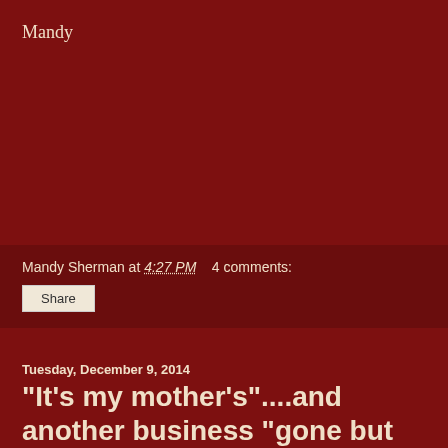Mandy
Mandy Sherman at 4:27 PM   4 comments:
Share
Tuesday, December 9, 2014
"It's my mother's"....and another business "gone but not forgotten"
At a large holiday gathering we attended last Friday, I was